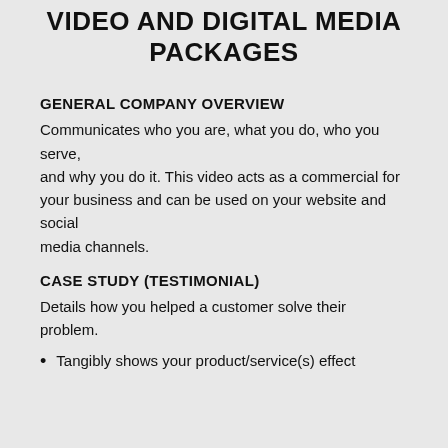VIDEO AND DIGITAL MEDIA PACKAGES
GENERAL COMPANY OVERVIEW
Communicates who you are, what you do, who you serve, and why you do it. This video acts as a commercial for your business and can be used on your website and social media channels.
CASE STUDY (TESTIMONIAL)
Details how you helped a customer solve their problem.
Tangibly shows your product/service(s) effect